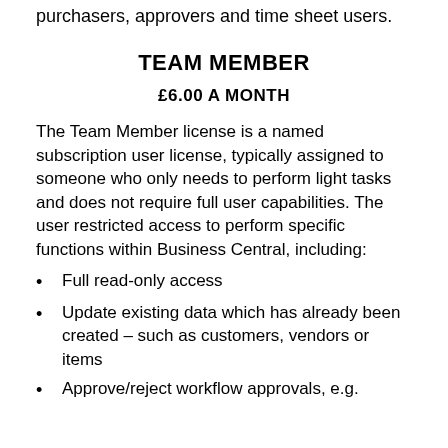purchasers, approvers and time sheet users.
TEAM MEMBER
£6.00 A MONTH
The Team Member license is a named subscription user license, typically assigned to someone who only needs to perform light tasks and does not require full user capabilities. The user restricted access to perform specific functions within Business Central, including:
Full read-only access
Update existing data which has already been created – such as customers, vendors or items
Approve/reject workflow approvals, e.g.